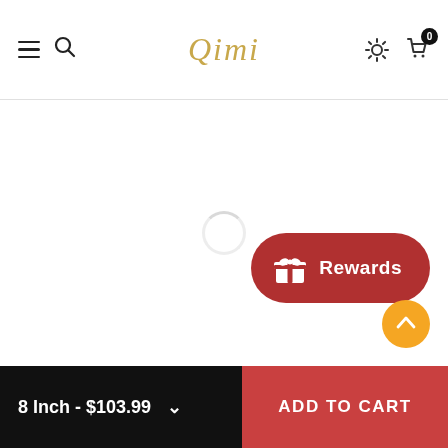Qimi — navigation header with hamburger menu, search, settings, and cart (0 items)
[Figure (screenshot): Loading spinner in main content area, white background]
[Figure (other): Red rounded Rewards button with gift icon and text 'Rewards']
[Figure (other): Orange circular scroll-to-top button with upward arrow]
8 Inch - $103.99
ADD TO CART